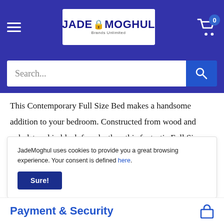JadeMoghul - Brands Unlimited (logo), cart icon with badge 0, hamburger menu, search bar
This Contemporary Full Size Bed makes a handsome addition to your bedroom. Constructed from wood and upholstered in black faux leather, this fantastic Full Size bed will easily incorporate into any decor style. It also has steel slats with center support which provides for the physical reliability. The tall and plush headboard of this bed features grid tufting for added visual interest. Its side rails and footboard are also upholstered in faux leather and features a low
JadeMoghul uses cookies to provide you a great browsing experience. Your consent is defined here.
Sure!
Payment & Security